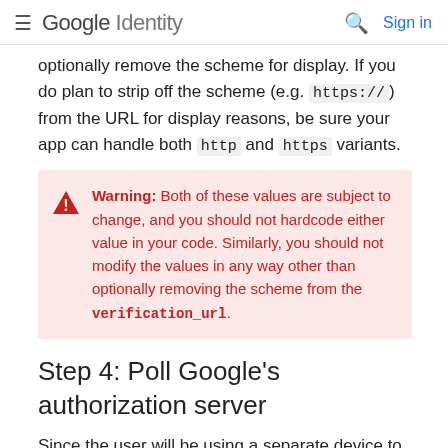Google Identity   Sign in
optionally remove the scheme for display. If you do plan to strip off the scheme (e.g. https://) from the URL for display reasons, be sure your app can handle both http and https variants.
Warning: Both of these values are subject to change, and you should not hardcode either value in your code. Similarly, you should not modify the values in any way other than optionally removing the scheme from the verification_url.
Step 4: Poll Google's authorization server
Since the user will be using a separate device to navigate to the verification_url and grant (or deny) access